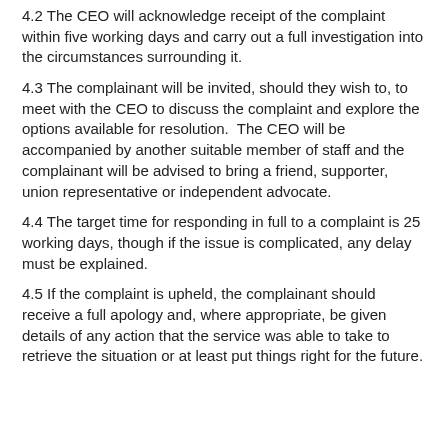4.2 The CEO will acknowledge receipt of the complaint within five working days and carry out a full investigation into the circumstances surrounding it.
4.3 The complainant will be invited, should they wish to, to meet with the CEO to discuss the complaint and explore the options available for resolution.  The CEO will be accompanied by another suitable member of staff and the complainant will be advised to bring a friend, supporter, union representative or independent advocate.
4.4 The target time for responding in full to a complaint is 25 working days, though if the issue is complicated, any delay must be explained.
4.5 If the complaint is upheld, the complainant should receive a full apology and, where appropriate, be given details of any action that the service was able to take to retrieve the situation or at least put things right for the future.